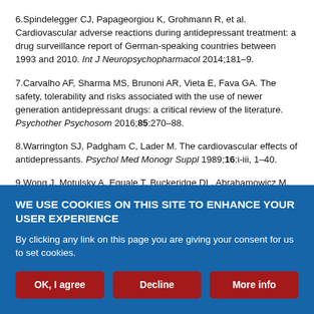6.Spindelegger CJ, Papageorgiou K, Grohmann R, et al. Cardiovascular adverse reactions during antidepressant treatment: a drug surveillance report of German-speaking countries between 1993 and 2010. Int J Neuropsychopharmacol 2014;181–9.
7.Carvalho AF, Sharma MS, Brunoni AR, Vieta E, Fava GA. The safety, tolerability and risks associated with the use of newer generation antidepressant drugs: a critical review of the literature. Psychother Psychosom 2016;85:270–88.
8.Warrington SJ, Padgham C, Lader M. The cardiovascular effects of antidepressants. Psychol Med Monogr Suppl 1989;16:i-iii, 1–40.
9.Wong J, Motulsky A, Equale T, Buckeridge DL, Abrahamowicz M,
WE USE COOKIES ON THIS SITE TO ENHANCE YOUR USER EXPERIENCE
By clicking any link on this page you are giving your consent for us to set cookies.